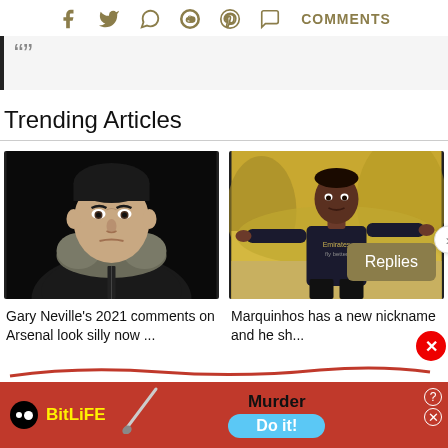Social share icons: Facebook, Twitter, WhatsApp, Reddit, Pinterest, Comments
[Figure (screenshot): Partial article quote block with quotation marks visible, gray background with left black border]
Trending Articles
[Figure (photo): Gary Neville looking serious in a fur-lined dark jacket against black background]
Gary Neville's 2021 comments on Arsenal look silly now ...
[Figure (photo): Marquinhos in Arsenal Emirates dark kit with arms outstretched celebrating, with Replies badge overlay]
Marquinhos has a new nickname and he sh...
[Figure (screenshot): BitLife advertisement banner: Murder - Do it! with red background and blue button]